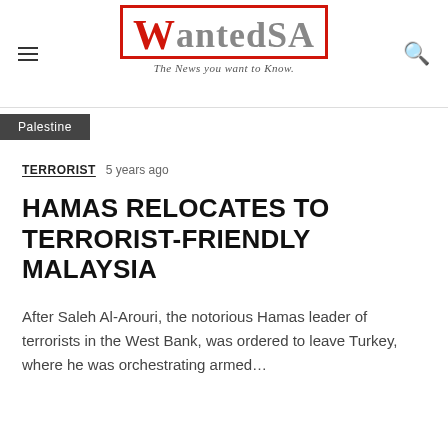WantedSA — The News you want to Know.
Palestine
TERRORIST   5 years ago
HAMAS RELOCATES TO TERRORIST-FRIENDLY MALAYSIA
After Saleh Al-Arouri, the notorious Hamas leader of terrorists in the West Bank, was ordered to leave Turkey, where he was orchestrating armed…